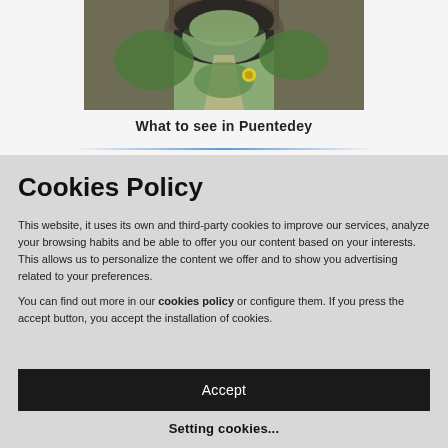[Figure (photo): Photograph of a rocky natural arch or cave passage with a path leading through lush green vegetation in Puentedey]
What to see in Puentedey
Cookies Policy
This website, it uses its own and third-party cookies to improve our services, analyze your browsing habits and be able to offer you our content based on your interests. This allows us to personalize the content we offer and to show you advertising related to your preferences.
You can find out more in our cookies policy or configure them. If you press the accept button, you accept the installation of cookies.
Accept
Setting cookies...